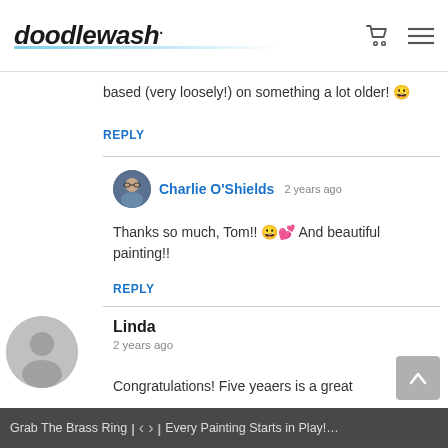doodlewash.
based (very loosely!) on something a lot older! 😀
REPLY
Charlie O'Shields  2 years ago
Thanks so much, Tom!! 😀💕 And beautiful painting!!
REPLY
Linda
2 years ago
Congratulations! Five yeaers is a great
Grab The Brass Ring | < > | Every Painting Starts in Play! How Playf...